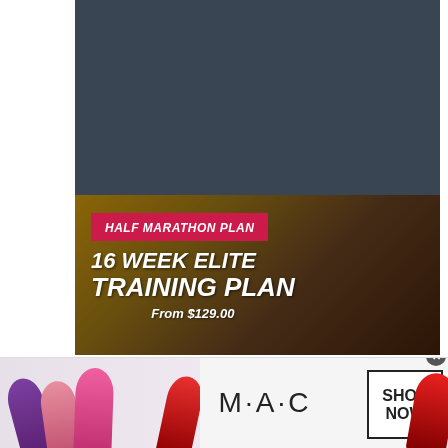[Figure (photo): Dark blue-gray background panel at top of page]
[Figure (photo): Half Marathon Plan 16 Week Elite Training Plan promotional image with runner silhouette background. Pink banner reads HALF MARATHON PLAN, large white italic text says 16 WEEK ELITE TRAINING PLAN, From $129.00]
[Figure (photo): MAC cosmetics advertisement banner showing lipsticks in purple, pink, and red colors, MAC logo, and SHOP NOW button]